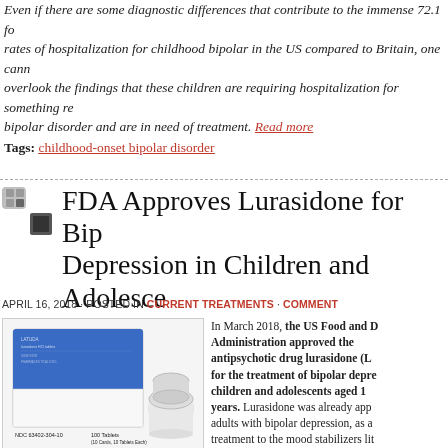Even if there are some diagnostic differences that contribute to the immense 72.1 fold higher rates of hospitalization for childhood bipolar in the US compared to Britain, one cannot overlook the findings that these children are requiring hospitalization for something related to bipolar disorder and are in need of treatment. Read more
Tags: childhood-onset bipolar disorder
FDA Approves Lurasidone for Bipolar Depression in Children and Adolescents
APRIL 16, 2018 · POSTED IN CURRENT TREATMENTS · COMMENT
[Figure (photo): Photo of a white and blue medication box labeled with NDC 63402-304-10, 100 Tablets (10 Cards, 10 Tablets Each), alongside a white pill bottle/container]
In March 2018, the US Food and Drug Administration approved the antipsychotic drug lurasidone (Latuda) for the treatment of bipolar depression in children and adolescents aged 10–17 years. Lurasidone was already approved for adults with bipolar depression, as an add-on treatment to the mood stabilizers lithium or valproate, and for schizophrenia in adolescents aged 13 years and up.